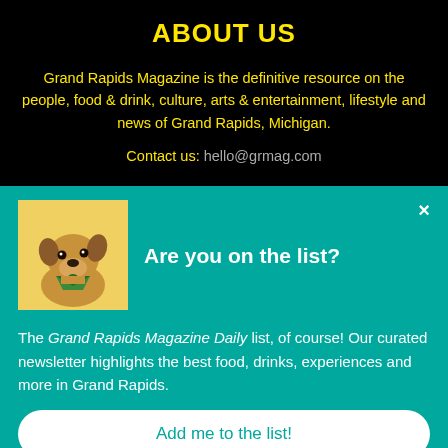ABOUT US
Grand Rapids Magazine is the definitive resource on the people, food & drink, culture, arts & entertainment, lifestyle and news of Grand Rapids, Michigan.
Contact us: hello@grmag.com
Are you on the list?
[Figure (photo): Photo of a French bulldog with a bandana, looking upward, on a yellow background]
The Grand Rapids Magazine Daily list, of course! Our curated newsletter highlights the best food, drinks, experiences and more in Grand Rapids.
Add me to the list!